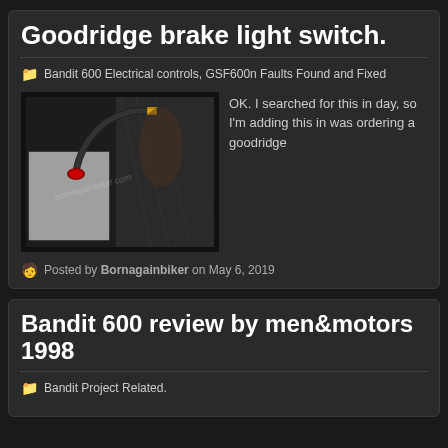Goodridge brake light switch.
Bandit 600 Electrical controls, GSF600n Faults Found and Fixed
[Figure (photo): Photo of a Goodridge brake light switch in plastic packaging, with a black cable and red/gold connectors, watermarked bornagainbiker.com]
OK. I searched for this in day, so I'm adding this in was ordering a goodridge
Posted by Bornagainbiker on May 6, 2019
Bandit 600 review by men&motors 1998
Bandit Project Related.